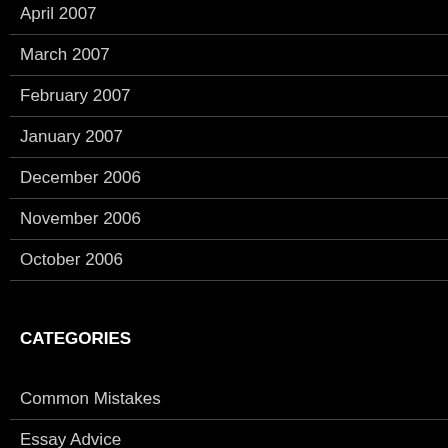April 2007
March 2007
February 2007
January 2007
December 2006
November 2006
October 2006
CATEGORIES
Common Mistakes
Essay Advice
MLA